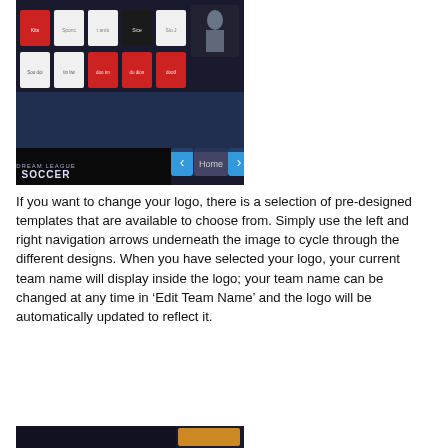[Figure (screenshot): Screenshot of Dream League Soccer game interface showing logo/kit color selection screen with colored tiles (red, white, black) arranged in a grid, navigation arrows, and 'Home' button, with the game title 'DREAM LEAGUE SOCCER' at the bottom.]
If you want to change your logo, there is a selection of pre-designed templates that are available to choose from. Simply use the left and right navigation arrows underneath the image to cycle through the different designs. When you have selected your logo, your current team name will display inside the logo; your team name can be changed at any time in ‘Edit Team Name’ and the logo will be automatically updated to reflect it.
[Figure (screenshot): Partial screenshot of Dream League Soccer game interface visible at bottom of page.]